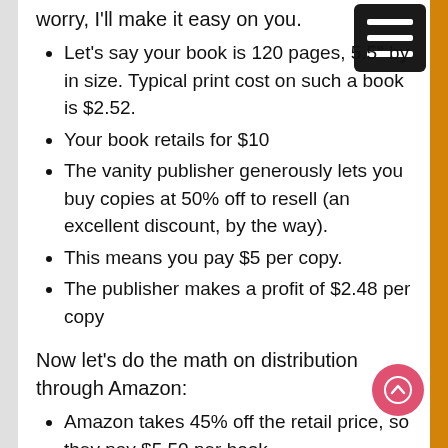worry, I'll make it easy on you.
Let's say your book is 120 pages, 5.5" by [8.5"] in size. Typical print cost on such a book is $2.52.
Your book retails for $10
The vanity publisher generously lets you buy copies at 50% off to resell (an excellent discount, by the way).
This means you pay $5 per copy.
The publisher makes a profit of $2.48 per copy
Now let's do the math on distribution through Amazon:
Amazon takes 45% off the retail price, so they pay $5.50 per book